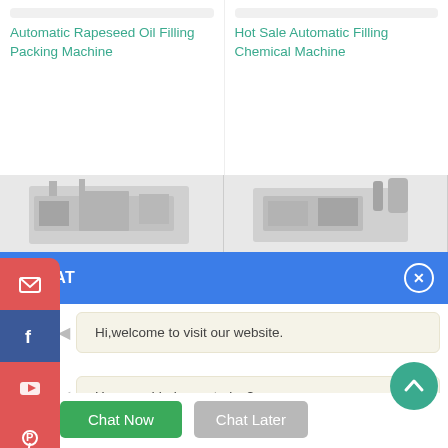Automatic Rapeseed Oil Filling Packing Machine
Hot Sale Automatic Filling Chemical Machine
[Figure (screenshot): Live chat widget with header 'E CHAT', two chat messages from agent 'Cilina' ('Hi,welcome to visit our website.' and 'How can I help you today?'), and Chat Now / Chat Later buttons.]
Hi,welcome to visit our website.
How can I help you today?